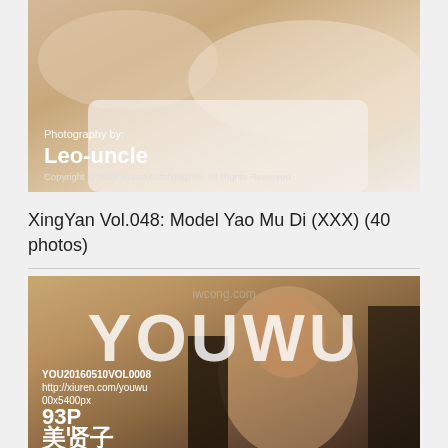[Figure (photo): Magazine cover photo showing a woman in white clothing on a light background, with overlay text showing 'Photography by: Leo-uncle' and copyright notice]
XingYan Vol.048: Model Yao Mu Di (×××) (40 photos)
[Figure (photo): YouWu magazine cover showing a young woman with dark upswept hair in a light purple outfit near a piano, with large YOUWU logo text and publication details: YOU20160510VOL0008, http://xiuren.com/youwu, 5400px, 93P, and Chinese text 美贤子]